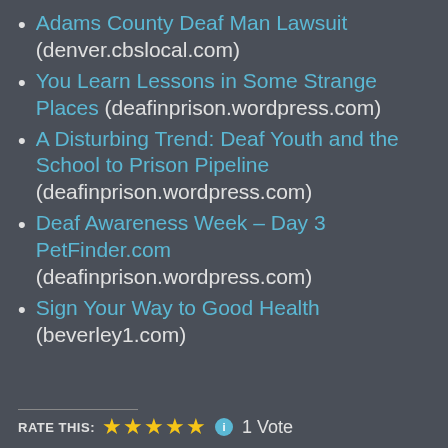Adams County Deaf Man Lawsuit (denver.cbslocal.com)
You Learn Lessons in Some Strange Places (deafinprison.wordpress.com)
A Disturbing Trend: Deaf Youth and the School to Prison Pipeline (deafinprison.wordpress.com)
Deaf Awareness Week – Day 3 PetFinder.com (deafinprison.wordpress.com)
Sign Your Way to Good Health (beverley1.com)
RATE THIS: ★★★★★ ℹ 1 Vote